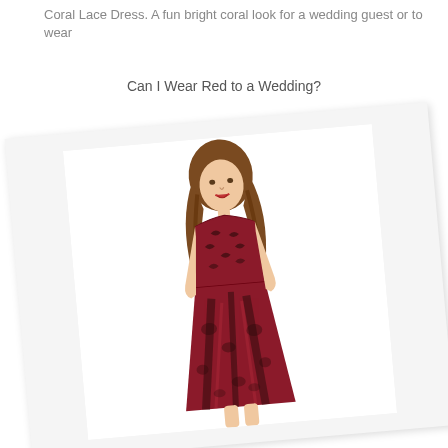Coral Lace Dress. A fun bright coral look for a wedding guest or to wear
Can I Wear Red to a Wedding?
[Figure (photo): A woman wearing a red and black floral brocade fit-and-flare sleeveless dress, displayed on a slightly rotated/tilted photo card with white background]